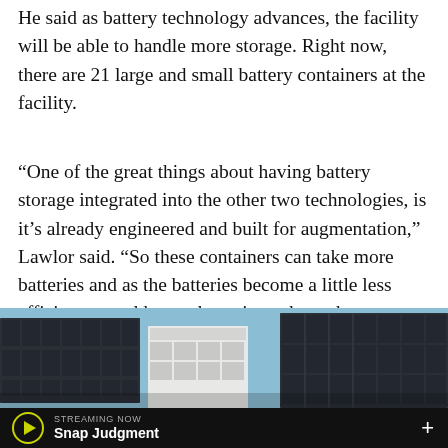He said as battery technology advances, the facility will be able to handle more storage. Right now, there are 21 large and small battery containers at the facility.
“One of the great things about having battery storage integrated into the other two technologies, is it’s already engineered and built for augmentation,” Lawlor said. “So these containers can take more batteries and as the batteries become a little less efficient, we add more batteries to keep the capacity.”
[Figure (photo): Photograph of solar panels and a white battery storage container against a light blue sky]
STREAMING NOW
Snap Judgment